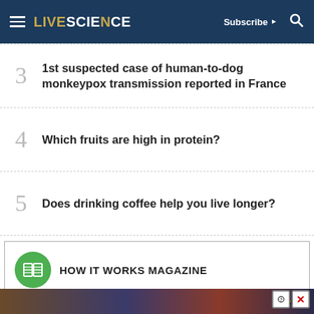LIVE SCIENCE — Subscribe | Search
3 — 1st suspected case of human-to-dog monkeypox transmission reported in France
4 — Which fruits are high in protein?
5 — Does drinking coffee help you live longer?
HOW IT WORKS MAGAZINE